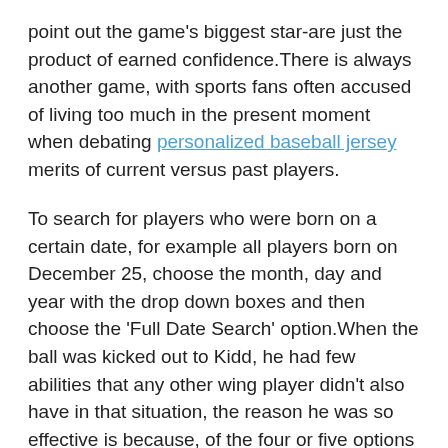point out the game's biggest star-are just the product of earned confidence.There is always another game, with sports fans often accused of living too much in the present moment when debating personalized baseball jersey merits of current versus past players.
To search for players who were born on a certain date, for example all players born on December 25, choose the month, day and year with the drop down boxes and then choose the 'Full Date Search' option.When the ball was kicked out to Kidd, he had few abilities that any other wing player didn't also have in that situation, the reason he was so effective is because, of the four or five options available, he always did exactly the right thing, and he did it without hesitation.Robinson will attend Pitt in the fall.It's worth a read to contextualize what the hell happened that got them to this point because they are indeed a special gang of droogs.After leaving college basketball, Snyder coached the Austin Spurs for the...